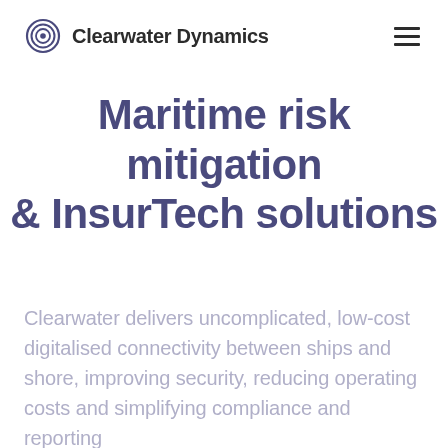Clearwater Dynamics
Maritime risk mitigation & InsurTech solutions
Clearwater delivers uncomplicated, low-cost digitalised connectivity between ships and shore, improving security, reducing operating costs and simplifying compliance and reporting